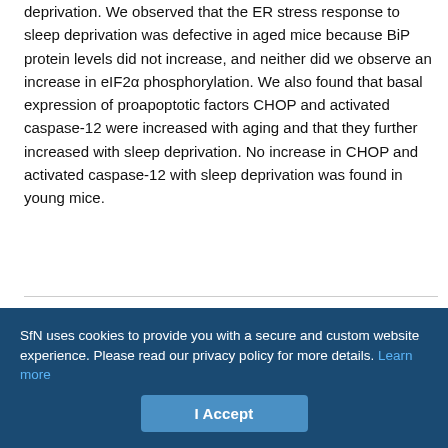deprivation. We observed that the ER stress response to sleep deprivation was defective in aged mice because BiP protein levels did not increase, and neither did we observe an increase in eIF2α phosphorylation. We also found that basal expression of proapoptotic factors CHOP and activated caspase-12 were increased with aging and that they further increased with sleep deprivation. No increase in CHOP and activated caspase-12 with sleep deprivation was found in young mice.
Materials and Methods
Animal handling and behavioral assessment
Studies were performed on young 10 week-old and aged 22- to 24-
SfN uses cookies to provide you with a secure and custom website experience. Please read our privacy policy for more details. Learn more